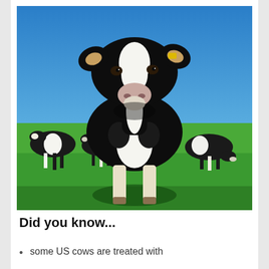[Figure (photo): Close-up photo of a black and white Holstein dairy cow facing the camera in a green field under a blue sky, with several other cows grazing in the background.]
Did you know...
some US cows are treated with